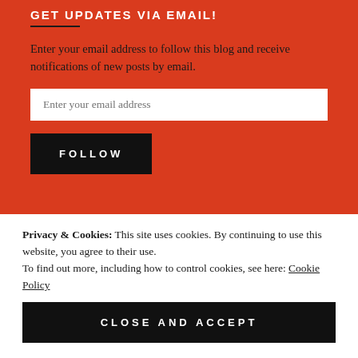GET UPDATES VIA EMAIL!
Enter your email address to follow this blog and receive notifications of new posts by email.
Enter your email address
FOLLOW
Privacy & Cookies: This site uses cookies. By continuing to use this website, you agree to their use.
To find out more, including how to control cookies, see here: Cookie Policy
CLOSE AND ACCEPT